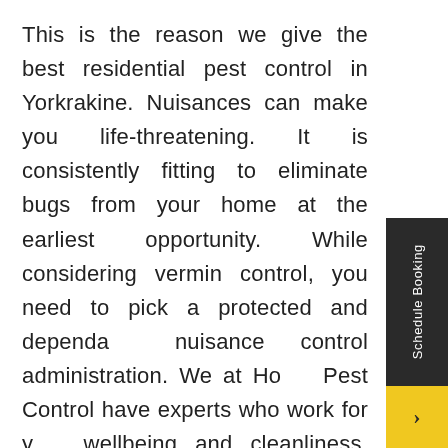This is the reason we give the best residential pest control in Yorkrakine. Nuisances can make you life-threatening. It is consistently fitting to eliminate bugs from your home at the earliest opportunity. While considering vermin control, you need to pick a protected and dependable nuisance control administration. We at Home Pest Control have experts who work for your wellbeing and cleanliness. Sponsored by experience, present-day devices and progressed strategies, we give brilliant pest control benefits all around Yorkrakine.